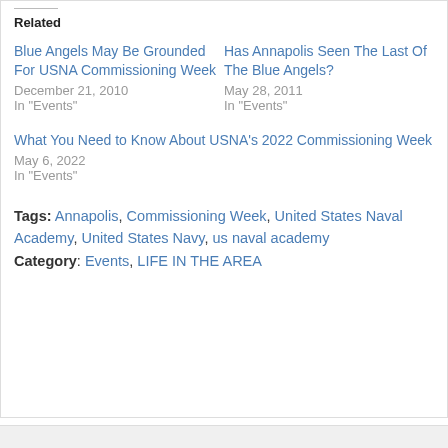Related
Blue Angels May Be Grounded For USNA Commissioning Week
December 21, 2010
In "Events"
Has Annapolis Seen The Last Of The Blue Angels?
May 28, 2011
In "Events"
What You Need to Know About USNA's 2022 Commissioning Week
May 6, 2022
In "Events"
Tags: Annapolis, Commissioning Week, United States Naval Academy, United States Navy, us naval academy
Category: Events, LIFE IN THE AREA